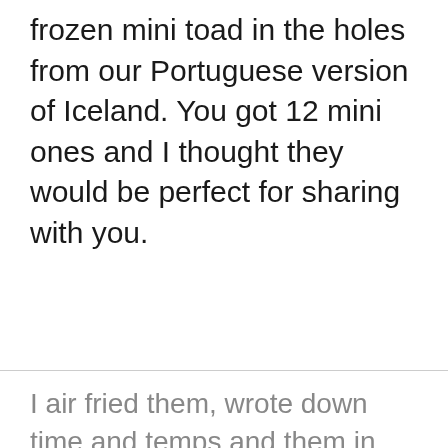frozen mini toad in the holes from our Portuguese version of Iceland. You got 12 mini ones and I thought they would be perfect for sharing with you.
I air fried them, wrote down time and temps and them in my wisdom decided they would be bett...